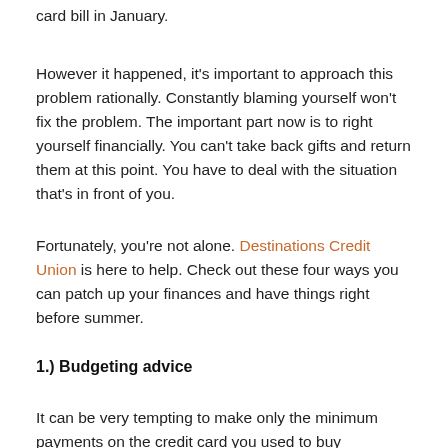card bill in January.
However it happened, it’s important to approach this problem rationally. Constantly blaming yourself won’t fix the problem. The important part now is to right yourself financially. You can’t take back gifts and return them at this point. You have to deal with the situation that’s in front of you.
Fortunately, you’re not alone. Destinations Credit Union is here to help. Check out these four ways you can patch up your finances and have things right before summer.
1.) Budgeting advice
It can be very tempting to make only the minimum payments on the credit card you used to buy Christmas.